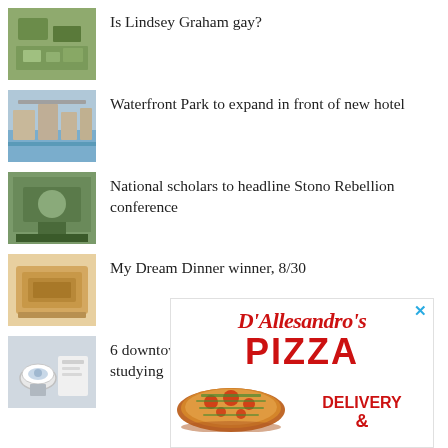Is Lindsey Graham gay?
Waterfront Park to expand in front of new hotel
National scholars to headline Stono Rebellion conference
My Dream Dinner winner, 8/30
6 downtown Charleston cafes to frequent while studying
[Figure (infographic): Advertisement for D'Allesandro's Pizza with red script logo, large bold PIZZA text, pizza image, and DELIVERY & text]